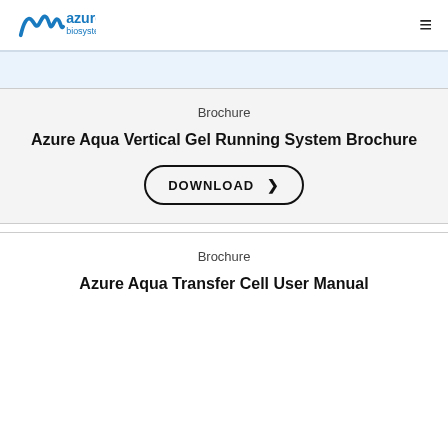azure biosystems
Brochure
Azure Aqua Vertical Gel Running System Brochure
DOWNLOAD ❯
Brochure
Azure Aqua Transfer Cell User Manual